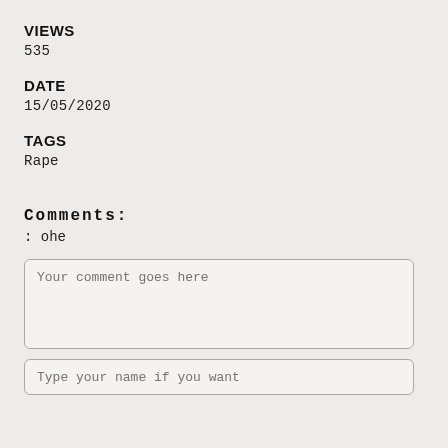VIEWS
535
DATE
15/05/2020
TAGS
Rape
Comments:
: ohe
Your comment goes here
Type your name if you want